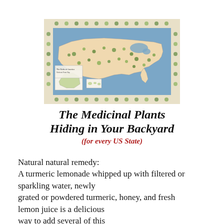[Figure (map): A decorative illustrated map of the United States showing medicinal plants native to each region and state, bordered by botanical illustrations of various plants.]
The Medicinal Plants Hiding in Your Backyard (for every US State)
Natural natural remedy: A turmeric lemonade whipped up with filtered or sparkling water, newly grated or powdered turmeric, honey, and fresh lemon juice is a delicious way to add several of this